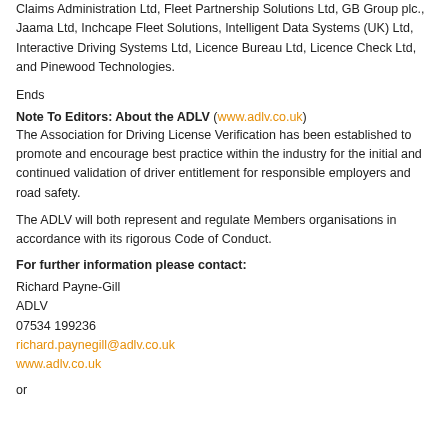Claims Administration Ltd, Fleet Partnership Solutions Ltd, GB Group plc., Jaama Ltd, Inchcape Fleet Solutions, Intelligent Data Systems (UK) Ltd, Interactive Driving Systems Ltd, Licence Bureau Ltd, Licence Check Ltd, and Pinewood Technologies.
Ends
Note To Editors: About the ADLV (www.adlv.co.uk)
The Association for Driving License Verification has been established to promote and encourage best practice within the industry for the initial and continued validation of driver entitlement for responsible employers and road safety.
The ADLV will both represent and regulate Members organisations in accordance with its rigorous Code of Conduct.
For further information please contact:
Richard Payne-Gill
ADLV
07534 199236
richard.paynegill@adlv.co.uk
www.adlv.co.uk
or